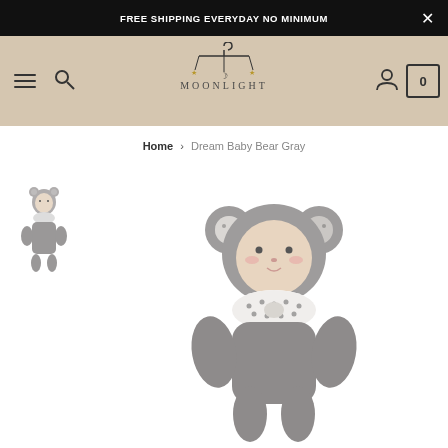FREE SHIPPING EVERYDAY NO MINIMUM
[Figure (logo): Moonlight logo with mobile-style hanger and stars, on beige background]
Home > Dream Baby Bear Gray
[Figure (photo): Small thumbnail image of the Dream Baby Bear Gray doll]
[Figure (photo): Main product image of Dream Baby Bear Gray stuffed doll wearing a gray bear onesie with polka-dot ears and bow tie collar]